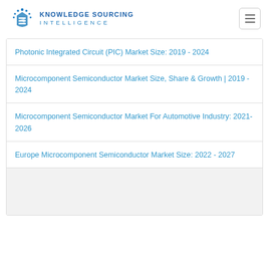[Figure (logo): Knowledge Sourcing Intelligence logo with icon and text]
Photonic Integrated Circuit (PIC) Market Size: 2019 - 2024
Microcomponent Semiconductor Market Size, Share & Growth | 2019 - 2024
Microcomponent Semiconductor Market For Automotive Industry: 2021-2026
Europe Microcomponent Semiconductor Market Size: 2022 - 2027